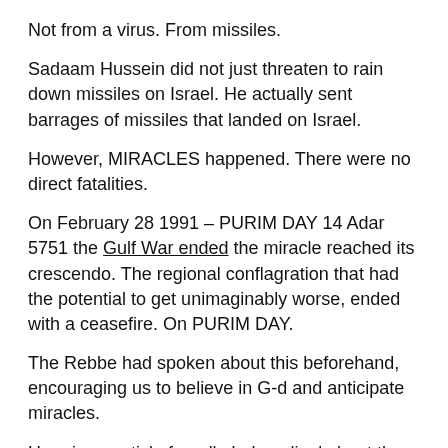Not from a virus. From missiles.
Sadaam Hussein did not just threaten to rain down missiles on Israel. He actually sent barrages of missiles that landed on Israel.
However, MIRACLES happened. There were no direct fatalities.
On February 28 1991 – PURIM DAY 14 Adar 5751 the Gulf War ended the miracle reached its crescendo. The regional conflagration that had the potential to get unimaginably worse, ended with a ceasefire. On PURIM DAY.
The Rebbe had spoken about this beforehand, encouraging us to believe in G-d and anticipate miracles.
Here is an article from 'kabala online' about the unfolding of these events from the Rebbe's perspective.
The Rebbe wrote several letters just after these events, directing us to look at these event at the Divine G-dly miracles...